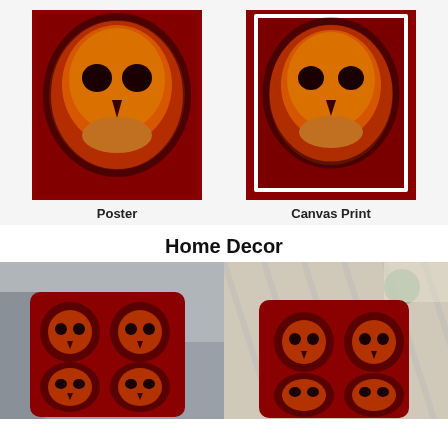[Figure (photo): Skull artwork on red background - Poster product image]
[Figure (photo): Skull artwork on red background - Canvas Print product image]
Poster
Canvas Print
Home Decor
[Figure (photo): Throw pillow with skull pattern on red background, shown on grey sofa]
[Figure (photo): Throw pillow with skull pattern on red background, shown on table setting]